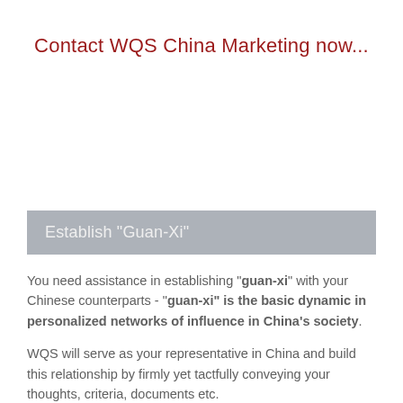Contact WQS China Marketing now...
Establish "Guan-Xi"
You need assistance in establishing "guan-xi" with your Chinese counterparts - "guan-xi" is the basic dynamic in personalized networks of influence in China's society.
WQS will serve as your representative in China and build this relationship by firmly yet tactfully conveying your thoughts, criteria, documents etc.